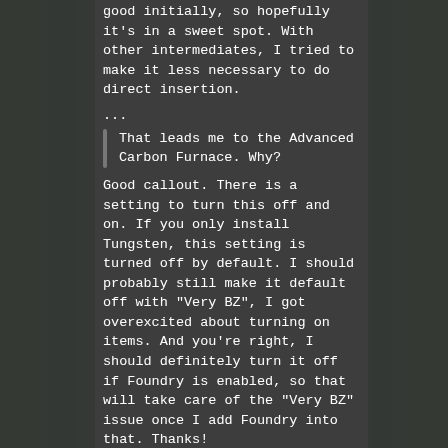good initially, so hopefully it's in a sweet spot. With other intermediates, I tried to make it less necessary to do direct insertion.
...
That leads me to the Advanced Carbon Furnace. Why?
Good callout. There is a setting to turn this off and on. If you only install Tungsten, this setting is turned off by default. I should probably still make it default off with "Very BZ", I got overexcited about turning on items. And you're right, I should definitely turn it off if Foundry is enabled, so that will take care of the "Very BZ" issue once I add Foundry into that. Thanks!
Tungsten Carbide I can't make up my mind on. Up to the rocket launch it felt like there was